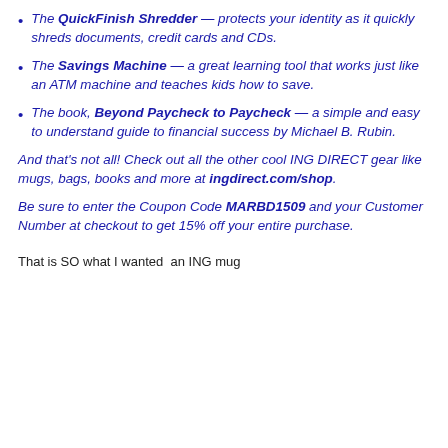The QuickFinish Shredder — protects your identity as it quickly shreds documents, credit cards and CDs.
The Savings Machine — a great learning tool that works just like an ATM machine and teaches kids how to save.
The book, Beyond Paycheck to Paycheck — a simple and easy to understand guide to financial success by Michael B. Rubin.
And that's not all! Check out all the other cool ING DIRECT gear like mugs, bags, books and more at ingdirect.com/shop.
Be sure to enter the Coupon Code MARBD1509 and your Customer Number at checkout to get 15% off your entire purchase.
That is SO what I wanted  an ING mug